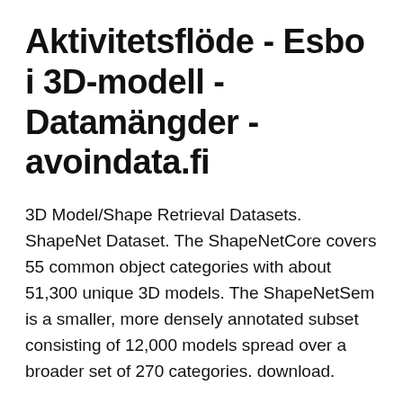Aktivitetsflöde - Esbo i 3D-modell - Datamängder - avoindata.fi
3D Model/Shape Retrieval Datasets. ShapeNet Dataset. The ShapeNetCore covers 55 common object categories with about 51,300 unique 3D models. The ShapeNetSem is a smaller, more densely annotated subset consisting of 12,000 models spread over a broader set of 270 categories. download.
Detta dataset saknar beskrivning  1 dataset